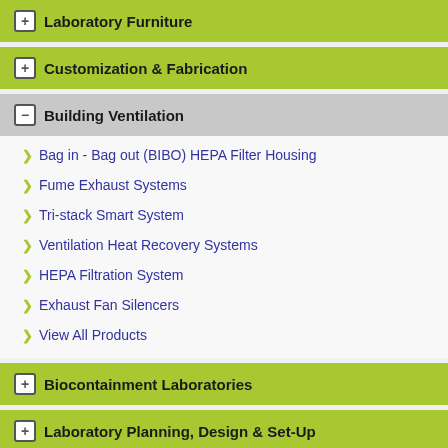Laboratory Furniture
Customization & Fabrication
Building Ventilation
Bag in - Bag out (BIBO) HEPA Filter Housing
Fume Exhaust Systems
Tri-stack Smart System
Ventilation Heat Recovery Systems
HEPA Filtration System
Exhaust Fan Silencers
View All Products
Biocontainment Laboratories
Laboratory Planning, Design & Set-Up
Fume Hood
Scrubber
Effluent Decontamination System